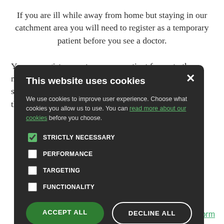If you are ill while away from home but staying in our catchment area you will need to register as a temporary patient before you see a doctor.
You can register as a temporary patient for up to three months. You will be added to the local practice list and still ... After three ... mporary patient ... practice.
[Figure (screenshot): Cookie consent modal dialog with dark background. Title: 'This website uses cookies'. Body text explains cookie use with a link 'read more about our cookies'. Four checkboxes: STRICTLY NECESSARY (checked), PERFORMANCE, TARGETING, FUNCTIONALITY. Two buttons: ACCEPT ALL (green filled) and DECLINE ALL (outlined).]
stration Form